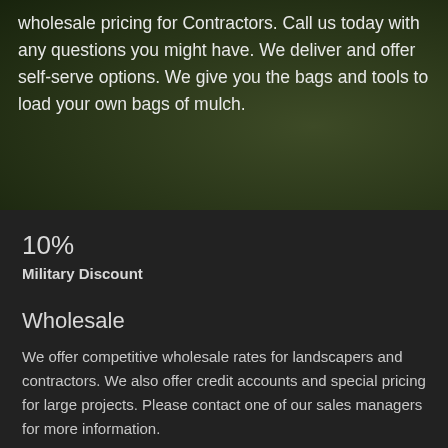wholesale pricing for Contractors. Call us today with any questions you might have. We deliver and offer self-serve options. We give you the bags and tools to load your own bags of mulch.
10%
Military Discount
Wholesale
We offer competitive wholesale rates for landscapers and contractors. We also offer credit accounts and special pricing for large projects. Please contact one of our sales managers for more information.